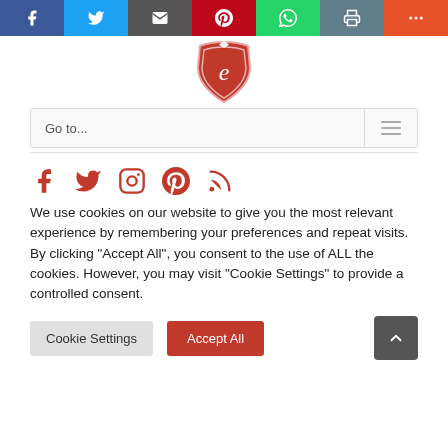[Figure (infographic): Social share bar with icons: Facebook (blue), Twitter (light blue), Email (dark gray), Pinterest (red), WhatsApp (green), Print (slate), More (orange-red)]
[Figure (logo): Red shield-shaped logo with decorative border, diamond icon on top, and stylized 'e' letter in the center]
Go to...
[Figure (infographic): Social media icons row: Facebook, Twitter, Instagram, Pinterest, RSS feed — all in red/coral color]
We use cookies on our website to give you the most relevant experience by remembering your preferences and repeat visits. By clicking "Accept All", you consent to the use of ALL the cookies. However, you may visit "Cookie Settings" to provide a controlled consent.
Cookie Settings
Accept All